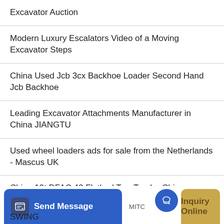Excavator Auction
Modern Luxury Escalators Video of a Moving Excavator Steps
China Used Jcb 3cx Backhoe Loader Second Hand Jcb Backhoe
Leading Excavator Attachments Manufacturer in China JIANGTU
Used wheel loaders ads for sale from the Netherlands - Mascus UK
China 10t DFAC 42 Flatbed Tow Truck - China Excavator Transport
SWING